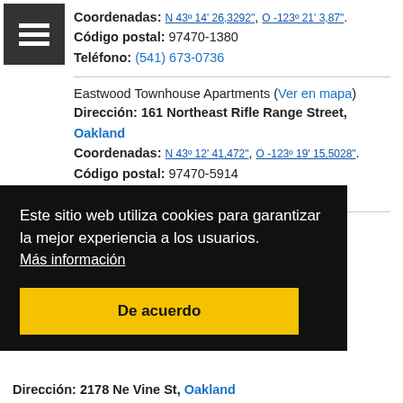[Figure (other): Hamburger menu icon (three white lines on dark background)]
Coordenadas: N 43º 14' 26,3292", O -123º 21' 3,87".
Código postal: 97470-1380
Teléfono: (541) 673-0736
Eastwood Townhouse Apartments (Ver en mapa)
Dirección: 161 Northeast Rifle Range Street, Oakland
Coordenadas: N 43º 12' 41,472", O -123º 19' 15,5028".
Código postal: 97470-5914
Teléfono: (541) 673-0879
Parkrose Apartments Mobile (Ver en mapa)
Dirección: 3701 N. Stephens St, Oakland
Este sitio web utiliza cookies para garantizar la mejor experiencia a los usuarios. Más información
De acuerdo
Dirección: 2178 Ne Vine St, Oakland